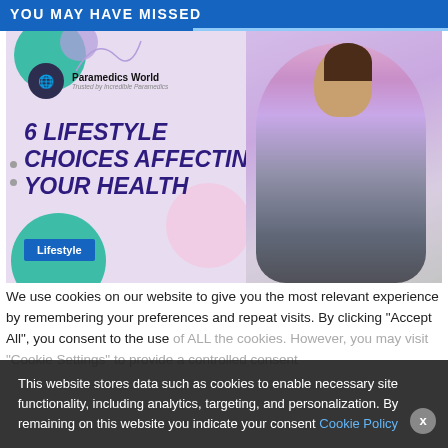YOU MAY HAVE MISSED
[Figure (infographic): Infographic thumbnail: '6 Lifestyle Choices Affecting Your Health' by Paramedics World, featuring a woman in a yoga/seated pose wearing lavender athletic wear, with decorative circles in teal, purple, and pink. A 'Lifestyle' badge appears at the bottom left.]
We use cookies on our website to give you the most relevant experience by remembering your preferences and repeat visits. By clicking "Accept All", you consent to the use of ALL the cookies. However, you may visit "Cookie Settings" to provide a controlled consent
This website stores data such as cookies to enable necessary site functionality, including analytics, targeting, and personalization. By remaining on this website you indicate your consent Cookie Policy